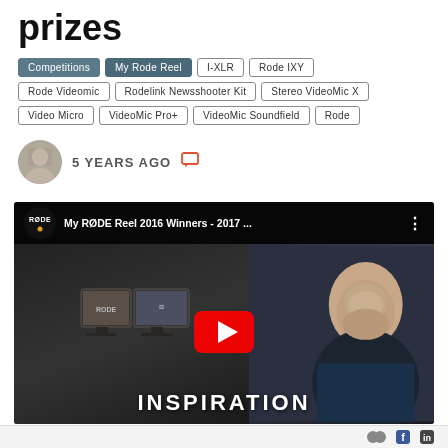prizes
Competitions
My Rode Reel
I-XLR
Rode IXY
Rode Videomic
Rodelink Newsshooter Kit
Stereo VideoMic X
Video Micro
VideoMic Pro+
VideoMic Soundfield
Rode
5 YEARS AGO
[Figure (screenshot): YouTube video embed showing 'My RØDE Reel 2016 Winners - 2017 ...' with RØDE logo, play button, and INSPIRATION text overlay at bottom, showing a man with monitors in background]